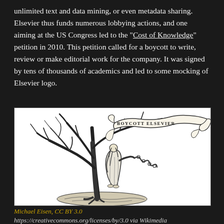unlimited text and data mining, or even metadata sharing. Elsevier thus funds numerous lobbying actions, and one aiming at the US Congress led to the "Cost of Knowledge" petition in 2010. This petition called for a boycott to write, review or make editorial work for the company. It was signed by tens of thousands of academics and led to some mocking of Elsevier logo.
[Figure (illustration): Black and white illustration parodying the Elsevier logo: a robed figure standing next to a bare, dead tree. A banner unfurling from the tree reads 'BOYCOTT ELSEVIER' in place of the original Elsevier motto. The figure holds a serpentine ribbon. The image is on a white background.]
Michael Eisen, CC BY 3.0
https://creativecommons.org/licenses/by/3.0 via Wikimedia